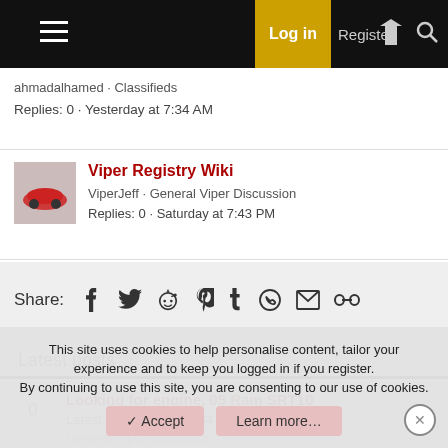Log in  Register
ahmadalhamed · Classifieds
Replies: 0 · Yesterday at 7:34 AM
Viper Registry Wiki
ViperJeff · General Viper Discussion
Replies: 0 · Saturday at 7:43 PM
Share:
Latest posts
0
Looking for engine, 05 Ram SRT10
Latest: 03ahumphrey · 34 minutes ago
General Viper Discussion
This site uses cookies to help personalise content, tailor your experience and to keep you logged in if you register.
By continuing to use this site, you are consenting to our use of cookies.